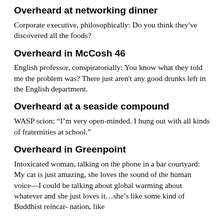Overheard at networking dinner
Corporate executive, philosophically: Do you think they've discovered all the foods?
Overheard in McCosh 46
English professor, conspiratorially: You know what they told me the problem was? There just aren't any good drunks left in the English department.
Overheard at a seaside compound
WASP scion: “I’m very open-minded. I hung out with all kinds of fraternities at school.”
Overheard in Greenpoint
Intoxicated woman, talking on the phone in a bar courtyard: My cat is just amazing, she loves the sound of the human voice—I could be talking about global warming about whatever and she just loves it…she’s like some kind of Buddhist reincar- nation, like